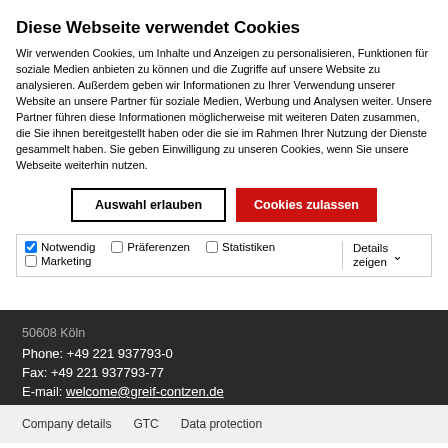Diese Webseite verwendet Cookies
Wir verwenden Cookies, um Inhalte und Anzeigen zu personalisieren, Funktionen für soziale Medien anbieten zu können und die Zugriffe auf unsere Website zu analysieren. Außerdem geben wir Informationen zu Ihrer Verwendung unserer Website an unsere Partner für soziale Medien, Werbung und Analysen weiter. Unsere Partner führen diese Informationen möglicherweise mit weiteren Daten zusammen, die Sie ihnen bereitgestellt haben oder die sie im Rahmen Ihrer Nutzung der Dienste gesammelt haben. Sie geben Einwilligung zu unseren Cookies, wenn Sie unsere Webseite weiterhin nutzen.
Auswahl erlauben | Cookies zulassen
☑ Notwendig  ☐ Präferenzen  ☐ Statistiken   Details zeigen
☐ Marketing
50608 Köln
Phone: +49 221 937793-0
Fax: +49 221 937793-77
E-mail: welcome@greif-contzen.de
Company details   GTC   Data protection